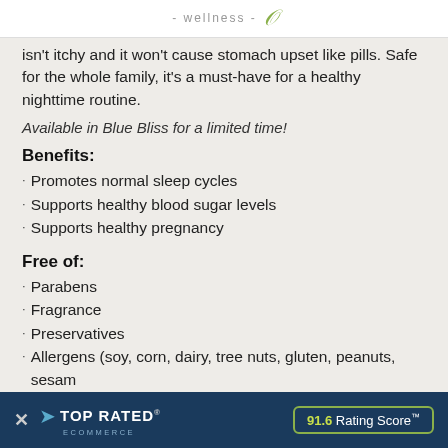- wellness -
isn't itchy and it won't cause stomach upset like pills. Safe for the whole family, it's a must-have for a healthy nighttime routine.
Available in Blue Bliss for a limited time!
Benefits:
Promotes normal sleep cycles
Supports healthy blood sugar levels
Supports healthy pregnancy
Free of:
Parabens
Fragrance
Preservatives
Allergens (soy, corn, dairy, tree nuts, gluten, peanuts, sesame)
[Figure (infographic): TOP RATED ECOMMERCE banner with 91.6 Rating Score TM badge in dark blue overlay bar at bottom of page]